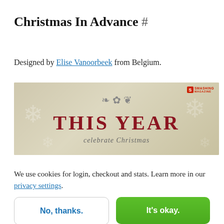Christmas In Advance #
Designed by Elise Vanoorbeek from Belgium.
[Figure (illustration): A decorative wallpaper/desktop image preview with a warm beige background, snowflake motifs, a dark ornamental flourish at top center, bold red text reading 'THIS YEAR' and italic text 'celebrate Christmas' below. Smashing Magazine logo in upper right corner.]
We use cookies for login, checkout and stats. Learn more in our privacy settings.
No, thanks.
It's okay.